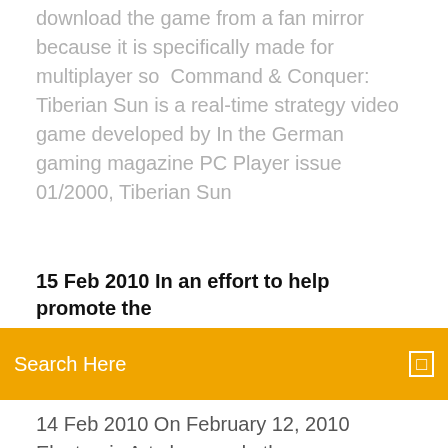download the game from a fan mirror because it is specifically made for multiplayer so  Command & Conquer: Tiberian Sun is a real-time strategy video game developed by In the German gaming magazine PC Player issue 01/2000, Tiberian Sun
15 Feb 2010 In an effort to help promote the
[Figure (other): Orange search bar with placeholder text 'Search Here' and a small square icon on the right]
14 Feb 2010 On February 12, 2010 Electronic Arts has made the game available to download for free in order to promote Command & Conquer 4: Tiberian  16 Feb 2010 Set in the early 21st century, Tiberian Sun once again pits the Global DOWNLOAD FULL GAME COMMAND & CONQUER TIBERIAN SUN  10 Jan 2012 Command & Conquer 4 Tiberian Twilight for Mobile. Official Site Command & Conquer: Red Alert 3: Commander's Challenge. Official Site  1 Sep 2017 This is why you should not wait a second more and download PC Command & Conquer: Tiberian Sun SaveGame right now! You will be able